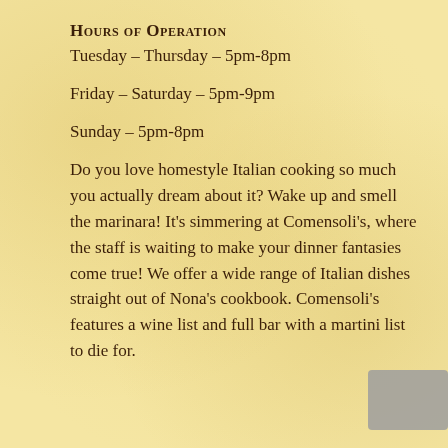Hours of Operation
Tuesday – Thursday – 5pm-8pm
Friday – Saturday – 5pm-9pm
Sunday – 5pm-8pm
Do you love homestyle Italian cooking so much you actually dream about it? Wake up and smell the marinara! It's simmering at Comensoli's, where the staff is waiting to make your dinner fantasies come true! We offer a wide range of Italian dishes straight out of Nona's cookbook. Comensoli's features a wine list and full bar with a martini list to die for.